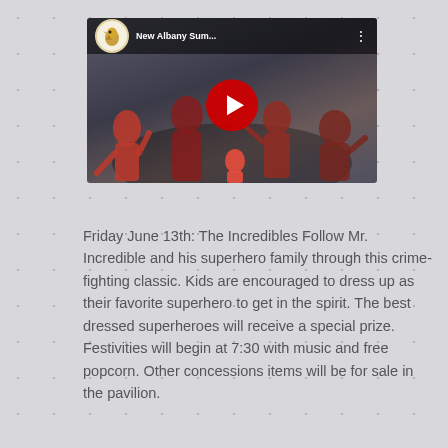[Figure (screenshot): YouTube video thumbnail for 'New Albany Sum...' showing The Incredibles movie poster with superhero family, red play button in center, channel avatar (bird/hawk mascot) and video title in top bar.]
Friday June 13th: The Incredibles Follow Mr. Incredible and his superhero family through this crime-fighting classic. Kids are encouraged to dress up as their favorite superhero to get in the spirit. The best dressed superheroes will receive a special prize. Festivities will begin at 7:30 with music and free popcorn. Other concessions items will be for sale in the pavilion.